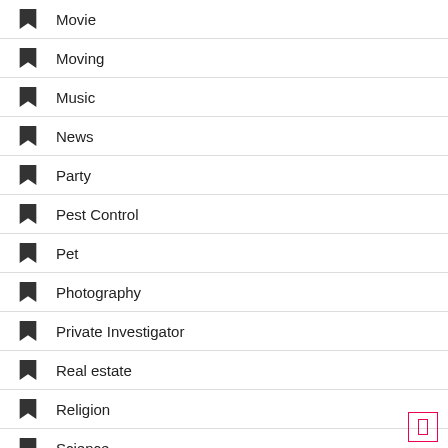Movie
Moving
Music
News
Party
Pest Control
Pet
Photography
Private Investigator
Real estate
Religion
Science